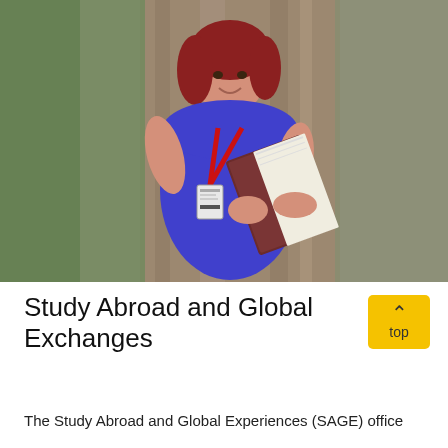[Figure (photo): A woman with red hair wearing a blue dress and red lanyard with ID badge, holding an open book, standing in front of a tree outdoors, smiling.]
Study Abroad and Global Exchanges
The Study Abroad and Global Experiences (SAGE) office